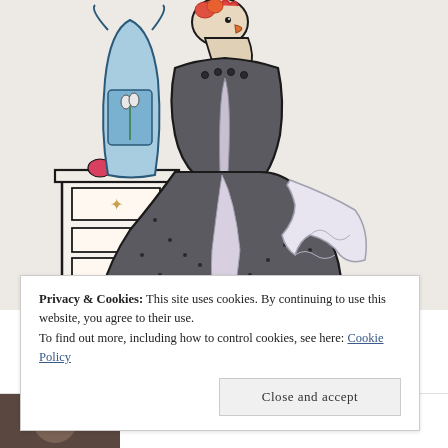[Figure (illustration): Hand-drawn watercolor illustration of a bird character (rooster/chicken) wearing a large dark gray ballgown/dress with polka dots and ruffles, standing next to a small dresser/cabinet with drawers. A blue apron or bag hangs behind. Small red and orange items on the dresser top. Pencil/ink and watercolor style.]
Privacy & Cookies: This site uses cookies. By continuing to use this website, you agree to their use.
To find out more, including how to control cookies, see here: Cookie Policy
Close and accept
one! Kind of rock